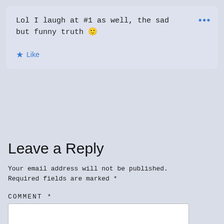Lol I laugh at #1 as well, the sad but funny truth 🙂
★ Like
Leave a Reply
Your email address will not be published. Required fields are marked *
COMMENT *